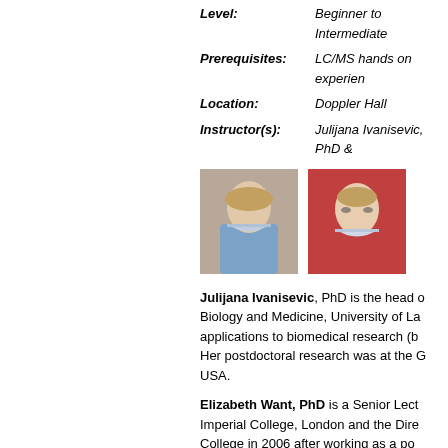Level: Beginner to Intermediate
Prerequisites: LC/MS hands on experience
Location: Doppler Hall
Instructor(s): Julijana Ivanisevic, PhD &
[Figure (photo): Photo of Julijana Ivanisevic]
[Figure (photo): Photo of Elizabeth Want]
Julijana Ivanisevic, PhD is the head of Biology and Medicine, University of La... applications to biomedical research (b... Her postdoctoral research was at the G... USA.
Elizabeth Want, PhD is a Senior Lect... Imperial College, London and the Dire... College in 2006 after working as a pos... research at Imperial College involves t... analysis of biological samples, largely... biomedical research areas including to... neurological diseases.